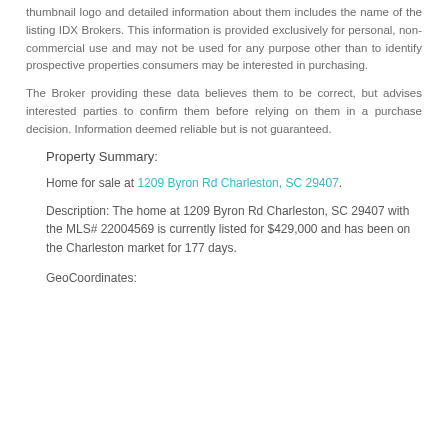thumbnail logo and detailed information about them includes the name of the listing IDX Brokers. This information is provided exclusively for personal, non-commercial use and may not be used for any purpose other than to identify prospective properties consumers may be interested in purchasing.
The Broker providing these data believes them to be correct, but advises interested parties to confirm them before relying on them in a purchase decision. Information deemed reliable but is not guaranteed.
Property Summary:
Home for sale at 1209 Byron Rd Charleston, SC 29407.
Description: The home at 1209 Byron Rd Charleston, SC 29407 with the MLS# 22004569 is currently listed for $429,000 and has been on the Charleston market for 177 days.
GeoCoordinates: